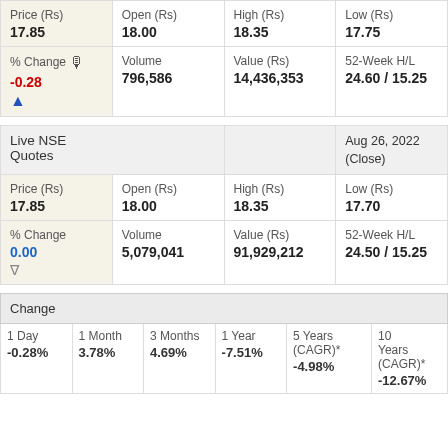| Price (Rs) | Open (Rs) | High (Rs) | Low (Rs) |
| --- | --- | --- | --- |
| 17.85 | 18.00 | 18.35 | 17.75 |
| % Change -0.28 | Volume 796,586 | Value (Rs) 14,436,353 | 52-Week H/L 24.60 / 15.25 |
| Live NSE Quotes |  |  | Aug 26, 2022 (Close) |
| --- | --- | --- | --- |
| Price (Rs) 17.85 | Open (Rs) 18.00 | High (Rs) 18.35 | Low (Rs) 17.70 |
| % Change 0.00 | Volume 5,079,041 | Value (Rs) 91,929,212 | 52-Week H/L 24.50 / 15.25 |
| Change |
| --- |
| 1 Day
-0.28% | 1 Month
3.78% | 3 Months
4.69% | 1 Year
-7.51% | 5 Years (CAGR)*
-4.98% | 10 Years (CAGR)*
-12.67% |